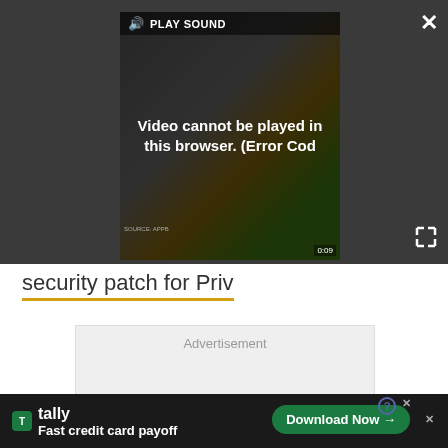[Figure (screenshot): Video player embedded in webpage showing error message: 'Video cannot be played in this browser. (Error Cod' with PLAY SOUND button and close/expand controls on dark background.]
security patch for Priv
Advertisement
[Figure (infographic): Bottom banner advertisement for Tally app: 'Fast credit card payoff' with green Download Now button and close controls.]